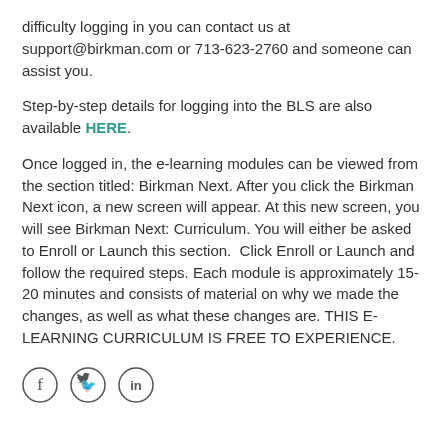difficulty logging in you can contact us at support@birkman.com or 713-623-2760 and someone can assist you.
Step-by-step details for logging into the BLS are also available HERE.
Once logged in, the e-learning modules can be viewed from the section titled: Birkman Next. After you click the Birkman Next icon, a new screen will appear. At this new screen, you will see Birkman Next: Curriculum. You will either be asked to Enroll or Launch this section.  Click Enroll or Launch and follow the required steps. Each module is approximately 15-20 minutes and consists of material on why we made the changes, as well as what these changes are. THIS E-LEARNING CURRICULUM IS FREE TO EXPERIENCE.
[Figure (illustration): Three circular social media icons: Facebook (f), Twitter (bird), LinkedIn (in)]